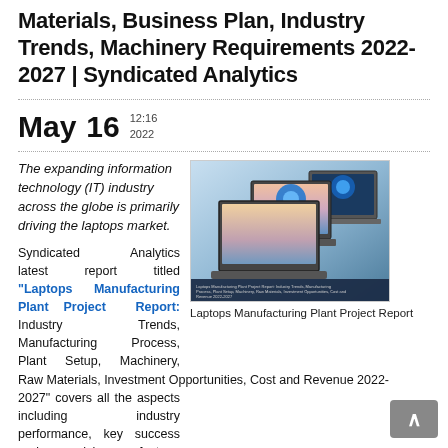Materials, Business Plan, Industry Trends, Machinery Requirements 2022-2027 | Syndicated Analytics
May 16  12:16 2022
The expanding information technology (IT) industry across the globe is primarily driving the laptops market.
Syndicated Analytics latest report titled "Laptops Manufacturing Plant Project Report: Industry Trends, Manufacturing Process, Plant Setup, Machinery, Raw Materials, Investment Opportunities, Cost and Revenue 2022-2027" covers all the aspects including industry performance, key success and risk factors, manufacturing requirements, project costs and economics
[Figure (photo): Cover image of Laptops Manufacturing Plant Project Report showing multiple laptops with Windows 11 style wallpaper]
Laptops Manufacturing Plant Project Report